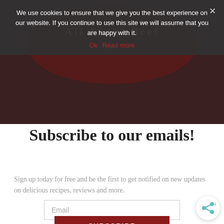[Figure (screenshot): Dark header area with partially visible logo text 'All About Beef' in an oval badge]
We use cookies to ensure that we give you the best experience on our website. If you continue to use this site we will assume that you are happy with it.
Ok   Read more
Subscribe to our emails!
Sign up today for free and be the first to get notified on new updates on delicious recipes, reviews and more.
Email
SUBSCRIBE